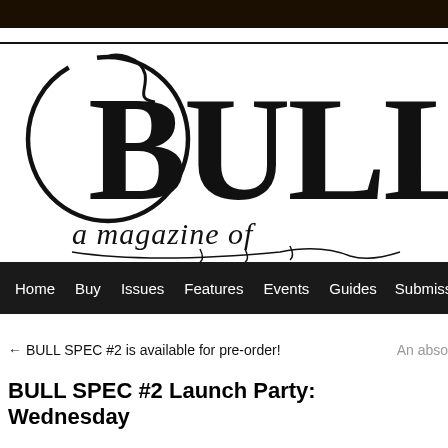[Figure (logo): BULL Spec magazine logo — large decorative blackletter/gothic text reading 'BULL' with a circular swirl ornament and italic subtitle 'a magazine of']
Home  Buy  Issues  Features  Events  Guides  Submissions
← BULL SPEC #2 is available for pre-order!
An abso
BULL SPEC #2 Launch Party: Wednesday